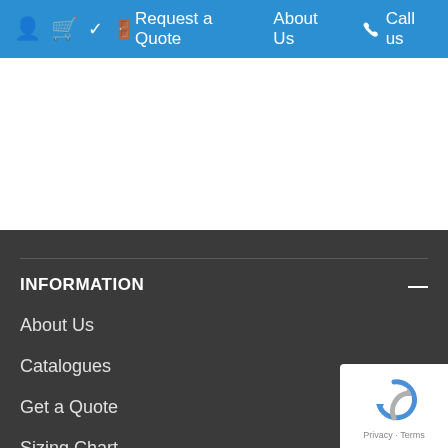Request a Quote  About Us  Call us
INFORMATION
About Us
Catalogues
Get a Quote
Sizing Chart
Reward Points
Testimonials
CUSTOMER SERVICE
CONTACT US